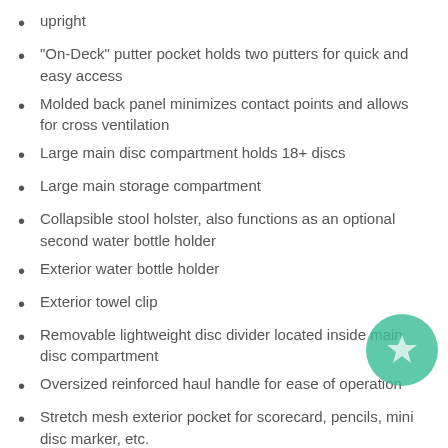upright
"On-Deck" putter pocket holds two putters for quick and easy access
Molded back panel minimizes contact points and allows for cross ventilation
Large main disc compartment holds 18+ discs
Large main storage compartment
Collapsible stool holster, also functions as an optional second water bottle holder
Exterior water bottle holder
Exterior towel clip
Removable lightweight disc divider located inside main disc compartment
Oversized reinforced haul handle for ease of operation
Stretch mesh exterior pocket for scorecard, pencils, mini disc marker, etc.
Water-resistant bottom material with reinforced feet to